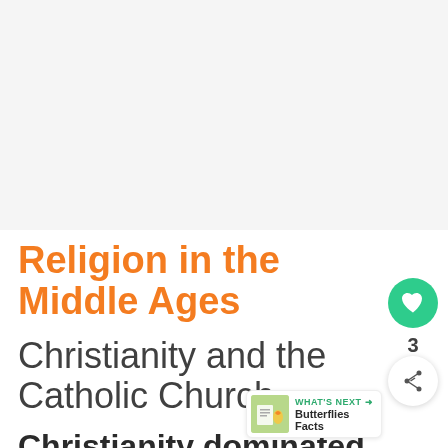[Figure (photo): Light grey placeholder image area occupying the top portion of the page]
Religion in the Middle Ages
Christianity and the Catholic Church
Christianity dominated